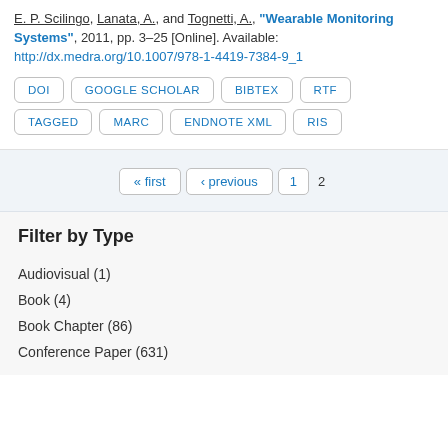E. P. Scilingo, Lanata, A., and Tognetti, A., "Wearable Monitoring Systems", 2011, pp. 3–25 [Online]. Available: http://dx.medra.org/10.1007/978-1-4419-7384-9_1
DOI
GOOGLE SCHOLAR
BIBTEX
RTF
TAGGED
MARC
ENDNOTE XML
RIS
« first  ‹ previous  1  2
Filter by Type
Audiovisual (1)
Book (4)
Book Chapter (86)
Conference Paper (631)